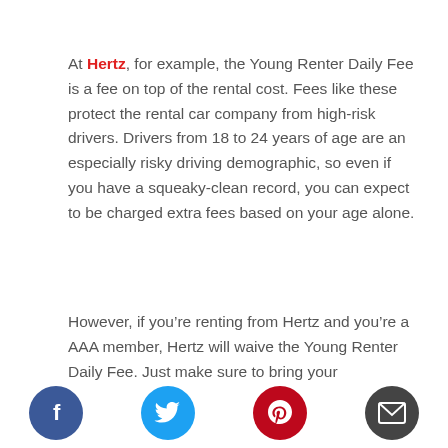At Hertz, for example, the Young Renter Daily Fee is a fee on top of the rental cost. Fees like these protect the rental car company from high-risk drivers. Drivers from 18 to 24 years of age are an especially risky driving demographic, so even if you have a squeaky-clean record, you can expect to be charged extra fees based on your age alone.
However, if you’re renting from Hertz and you’re a AAA member, Hertz will waive the Young Renter Daily Fee. Just make sure to bring your
[Figure (infographic): Social sharing icons row: Facebook (blue circle with f), Twitter (cyan circle with bird), Pinterest (red circle with p), Email (dark grey circle with envelope)]